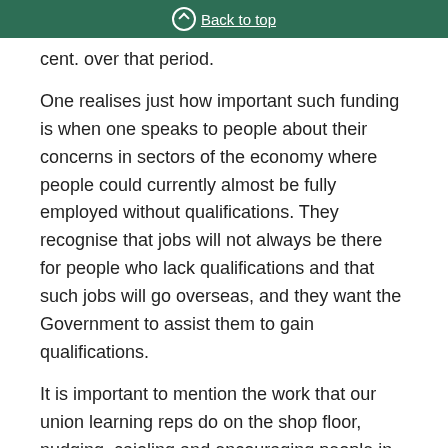Back to top
cent. over that period.
One realises just how important such funding is when one speaks to people about their concerns in sectors of the economy where people could currently almost be fully employed without qualifications. They recognise that jobs will not always be there for people who lack qualifications and that such jobs will go overseas, and they want the Government to assist them to gain qualifications.
It is important to mention the work that our union learning reps do on the shop floor, nudging, cajoling and encouraging people in their 40s, 50s and 60s to take up opportunities to acquire basic skills and level 2 qualifications. Those reps are acting in